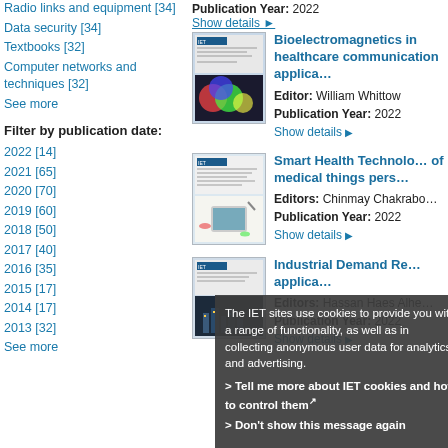Radio links and equipment [34]
Data security [34]
Textbooks [32]
Computer networks and techniques [32]
See more
Filter by publication date:
2022 [14]
2021 [65]
2020 [70]
2019 [60]
2018 [50]
2017 [40]
2016 [35]
2015 [17]
2014 [17]
2013 [32]
See more
Publication Year: 2022
Show details
[Figure (photo): Book cover for Bioelectromagnetics in Healthcare]
Bioelectromagnetics in Healthcare communication applications
Editor: William Whittow
Publication Year: 2022
Show details
[Figure (photo): Book cover for Smart Health Technologies]
Smart Health Technologies of medical things perspectives
Editors: Chinmay Chakraborty
Publication Year: 2022
Show details
[Figure (photo): Book cover for Industrial Demand Response]
Industrial Demand Response applications
Editors: Hassan Haes Alhelh
Publication Year: 2022
Show details
The IET sites use cookies to provide you with a range of functionality, as well as in collecting anonymous user data for analytics and advertising.
> Tell me more about IET cookies and how to control them
> Don't show this message again